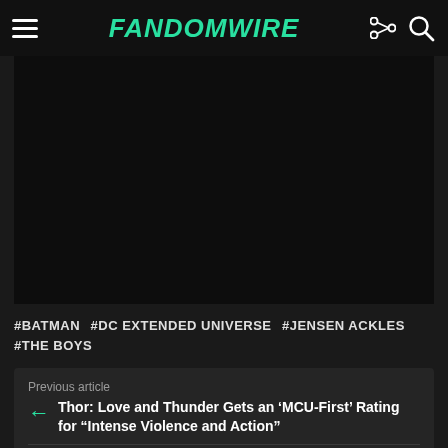FandomWire
[Figure (photo): Dark/black image area below the header navigation bar]
#BATMAN  #DC EXTENDED UNIVERSE  #JENSEN ACKLES  #THE BOYS
Previous article
Thor: Love and Thunder Gets an ‘MCU-First’ Rating for “Intense Violence and Action”
Next article
Superman & Lois Season 2 Finale Confirmed To Have Fan-Favorite Arrow Character